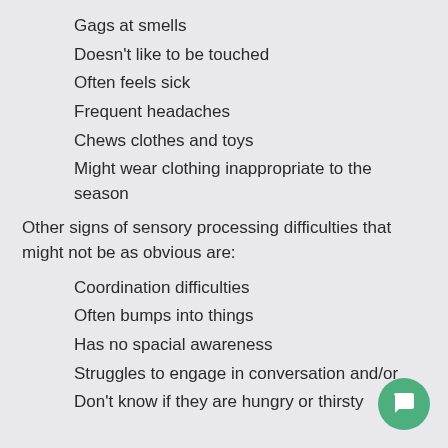Gags at smells
Doesn't like to be touched
Often feels sick
Frequent headaches
Chews clothes and toys
Might wear clothing inappropriate to the season
Other signs of sensory processing difficulties that might not be as obvious are:
Coordination difficulties
Often bumps into things
Has no spacial awareness
Struggles to engage in conversation and/or
Don't know if they are hungry or thirsty